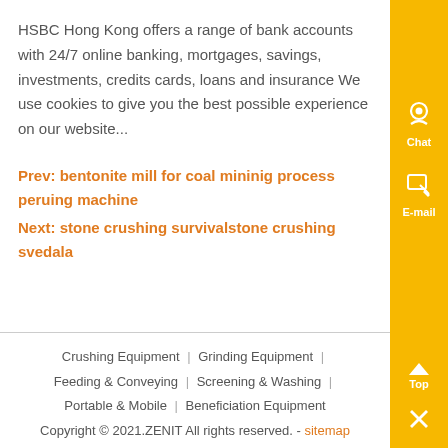HSBC Hong Kong offers a range of bank accounts with 24/7 online banking, mortgages, savings, investments, credits cards, loans and insurance We use cookies to give you the best possible experience on our website...
Prev: bentonite mill for coal mininig process peruing machine
Next: stone crushing survivalstone crushing svedala
Crushing Equipment | Grinding Equipment | Feeding & Conveying | Screening & Washing | Portable & Mobile | Beneficiation Equipment
Copyright © 2021.ZENIT All rights reserved. - sitemap